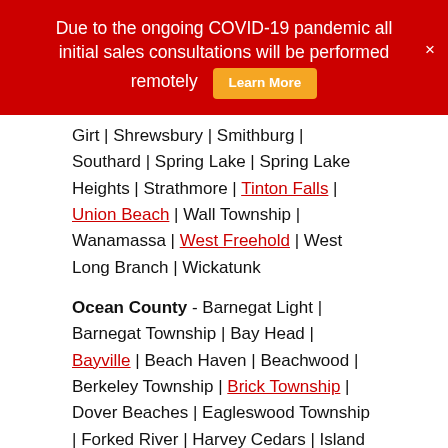Due to the ongoing COVID-19 pandemic all initial sales consultations will be performed remotely  [Learn More]  ×
Girt | Shrewsbury | Smithburg | Southard | Spring Lake | Spring Lake Heights | Strathmore | Tinton Falls | Union Beach | Wall Township | Wanamassa | West Freehold | West Long Branch | Wickatunk
Ocean County - Barnegat Light | Barnegat Township | Bay Head | Bayville | Beach Haven | Beachwood | Berkeley Township | Brick Township | Dover Beaches | Eagleswood Township | Forked River | Harvey Cedars | Island Heights | Jackson Township | Lacey Township | Lanoka Harbor | Lakehurst | Lavallette | Little Egg Harbor Township | Long Beach Township | North Beach Haven | Manchester Township | Manahawkin |